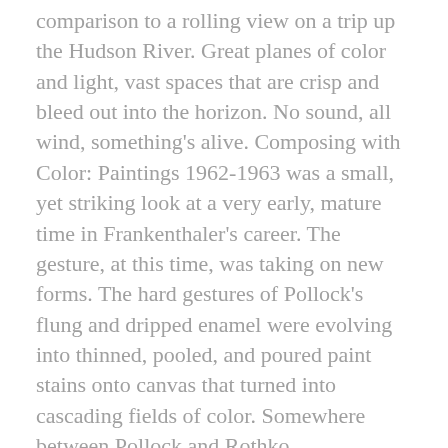comparison to a rolling view on a trip up the Hudson River. Great planes of color and light, vast spaces that are crisp and bleed out into the horizon. No sound, all wind, something's alive. Composing with Color: Paintings 1962-1963 was a small, yet striking look at a very early, mature time in Frankenthaler's career. The gesture, at this time, was taking on new forms. The hard gestures of Pollock's flung and dripped enamel were evolving into thinned, pooled, and poured paint stains onto canvas that turned into cascading fields of color. Somewhere between Pollock and Rothko, Frankenthaler pushed her forms so that they float, hanging on the bare canvas. Her images are structural and you enter the composition the same way you would an Albert Bierstadt landscape. It is an overwhelming experience to see these paintings and think about how groundbreaking the compositions are and how significant Frankenthaler is to our history and culture during the sixties.